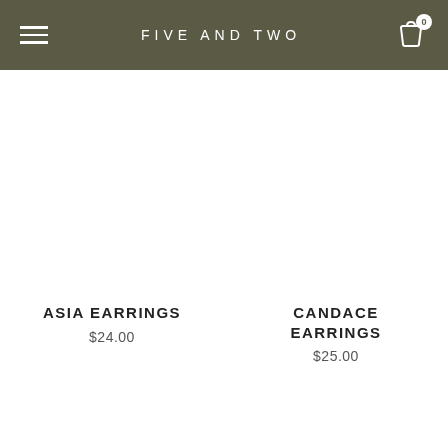FIVE AND TWO
ASIA EARRINGS
$24.00
CANDACE EARRINGS
$25.00